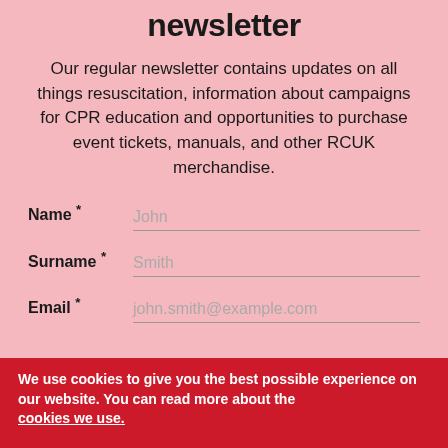newsletter
Our regular newsletter contains updates on all things resuscitation, information about campaigns for CPR education and opportunities to purchase event tickets, manuals, and other RCUK merchandise.
Name * [John]
Surname * [Smith]
Email * [john.smith@example.com]
We use cookies to give you the best possible experience on our website. You can read more about the cookies we use.